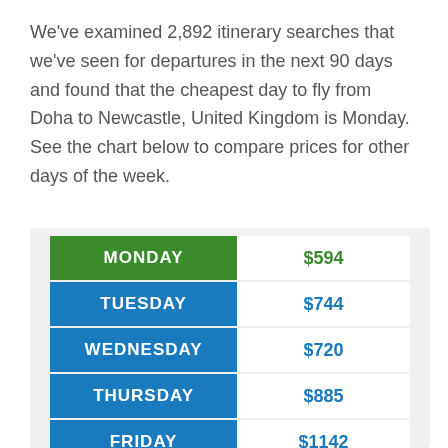We've examined 2,892 itinerary searches that we've seen for departures in the next 90 days and found that the cheapest day to fly from Doha to Newcastle, United Kingdom is Monday. See the chart below to compare prices for other days of the week.
| Day | Price |
| --- | --- |
| MONDAY | $594 |
| TUESDAY | $744 |
| WEDNESDAY | $720 |
| THURSDAY | $885 |
| FRIDAY | $1142 |